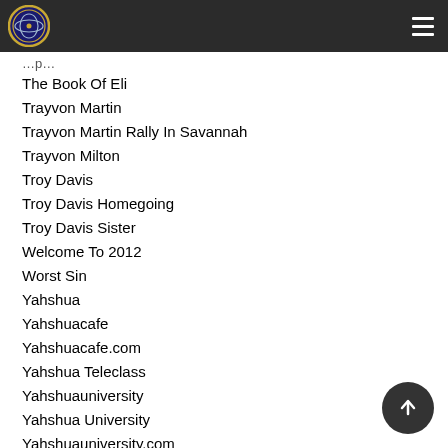The Book Of Eli
Trayvon Martin
Trayvon Martin Rally In Savannah
Trayvon Milton
Troy Davis
Troy Davis Homegoing
Troy Davis Sister
Welcome To 2012
Worst Sin
Yahshua
Yahshuacafe
Yahshuacafe.com
Yahshua Teleclass
Yahshuauniversity
Yahshua University
Yahshuauniversity.com